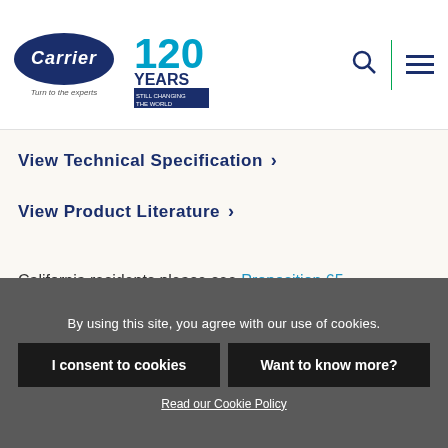[Figure (logo): Carrier logo with oval shape and tagline 'Turn to the experts', alongside 120 Years Still Changing the World badge]
View Technical Specification >
View Product Literature >
California residents please see Proposition 65
By using this site, you agree with our use of cookies.
I consent to cookies
Want to know more?
Read our Cookie Policy